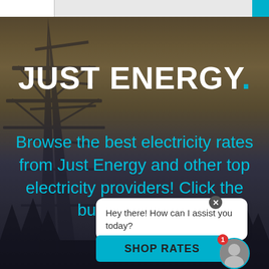Just Energy - navigation bar
[Figure (photo): Background photo of electrical power transmission tower (electricity pylon) against a dramatic cloudy sunset sky with warm orange/brown tones and dark foreground.]
JUST ENERGY.
Browse the best electricity rates from Just Energy and other top electricity providers! Click the button below to
Hey there! How can I assist you today?
SHOP RATES